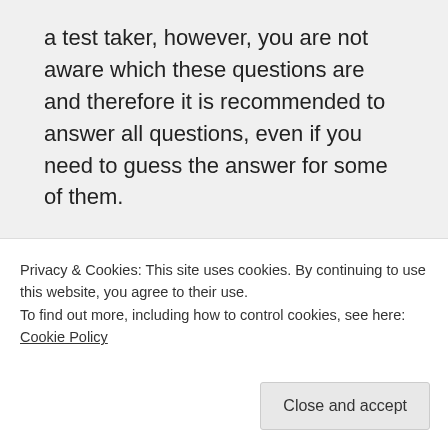a test taker, however, you are not aware which these questions are and therefore it is recommended to answer all questions, even if you need to guess the answer for some of them.
Katrina Zheltova on May 5, 2019 at 4:56 am
Privacy & Cookies: This site uses cookies. By continuing to use this website, you agree to their use.
To find out more, including how to control cookies, see here: Cookie Policy